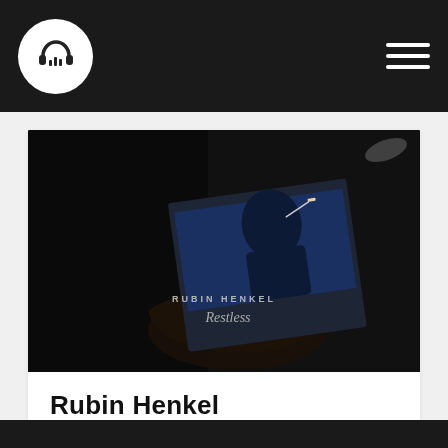[Figure (logo): Music app logo: white circle with headphones and audio bars icon on dark navbar]
[Figure (photo): Album cover photo for Rubin Henkel 'Restless' — dark image of a person holding an album/book, partially lit, with text 'RUBIN HENKEL' and cursive 'Restless' overlaid]
Rubin Henkel
The Postman